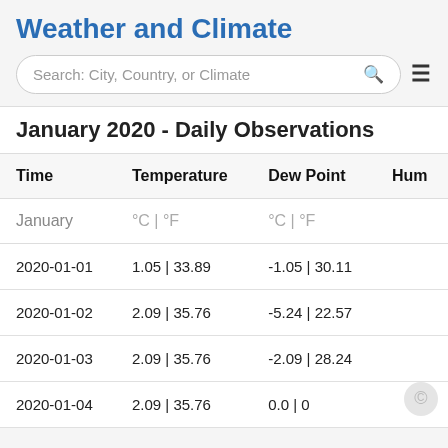Weather and Climate
January 2020 - Daily Observations
| Time | Temperature | Dew Point | Hum |
| --- | --- | --- | --- |
| January | °C | °F | °C | °F |  |
| 2020-01-01 | 1.05 | 33.89 | -1.05 | 30.11 |  |
| 2020-01-02 | 2.09 | 35.76 | -5.24 | 22.57 |  |
| 2020-01-03 | 2.09 | 35.76 | -2.09 | 28.24 |  |
| 2020-01-04 | 2.09 | 35.76 | 0.0 | 0 |  |